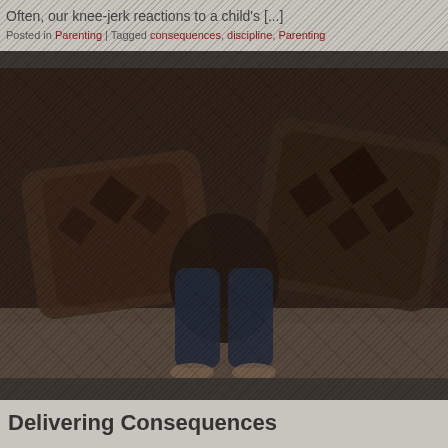Often, our knee-jerk reactions to a child's [...]
Posted in Parenting | Tagged consequences, discipline, Parenting
[Figure (photo): Dark photograph of a child sitting hunched on a couch surrounded by decorative pillows, viewed from behind, with bare feet visible. The image has a dark, moody tone with diagonal stripe texture overlay.]
Delivering Consequences